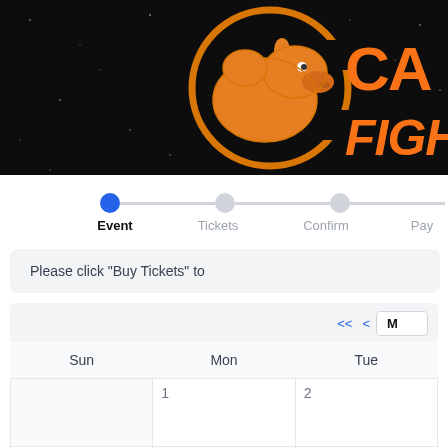[Figure (logo): Camel Fight Club logo banner — dark starfield background with orange camel mascot inside a C-shaped ring, and large orange text 'CA... FIGH...' (partially cropped)]
[Figure (infographic): Ticket purchase progress stepper with 4 steps: Event (active/blue dot), Tickets, Confirm, Pay — connected by a horizontal gray line]
Please click "Buy Tickets" to
[Figure (other): Calendar widget showing month view with navigation arrows << < and a month button M. Days of week: Sun, Mon, Tue (partially visible). Dates shown: 1, 2 in first row; 7, 8, 9 in second row (partially visible)]